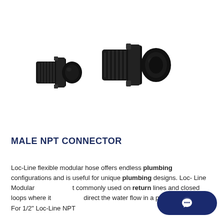[Figure (photo): Two black plastic Male NPT Connector fittings shown side by side. The left connector is smaller and the right connector is larger. Both are Loc-Line modular hose connectors with threaded NPT ends.]
MALE NPT CONNECTOR
Loc-Line flexible modular hose offers endless plumbing configurations and is useful for unique plumbing designs. Loc- Line Modular commonly used on return lines and closed loops where it direct the water flow in a particular direction. For 1/2" Loc-Line NPT